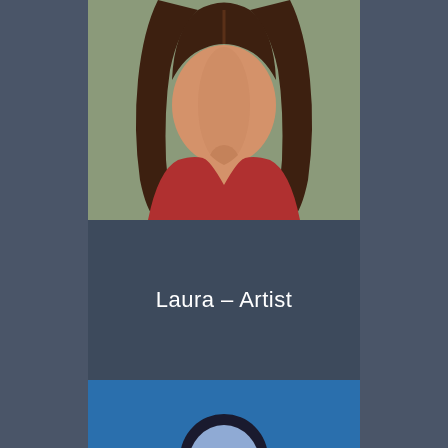[Figure (illustration): Flat illustration of a woman with long dark brown hair, no facial features, wearing a red V-neck top, on a muted olive/tan background]
Laura – Artist
[Figure (illustration): Partial flat illustration of a person with dark hair on a blue background, cropped at the bottom of the page]